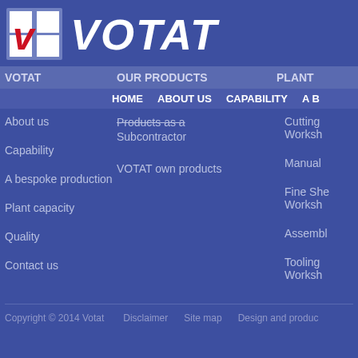[Figure (logo): VOTAT company logo with grid icon and italic VOTAT text in white on blue background]
VOTAT   OUR PRODUCTS   PLANT
HOME   ABOUT US   CAPABILITY   A B
About us
Products as a Subcontractor
Cutting Workshop
Capability
VOTAT own products
Manual
A bespoke production
Fine She Workshop
Plant capacity
Assembl
Quality
Tooling Workshop
Contact us
Copyright © 2014 Votat   Disclaimer   Site map   Design and produc